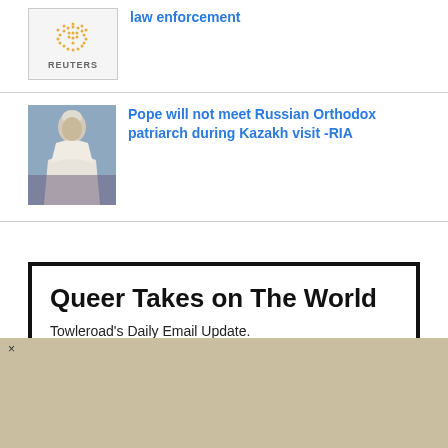[Figure (logo): Reuters logo with dot globe and REUTERS text]
law enforcement
[Figure (photo): Photo of Pope Francis in white robes]
Pope will not meet Russian Orthodox patriarch during Kazakh visit -RIA
Queer Takes on The World
Towleroad's Daily Email Update.
'News with Homosexual Tendencies"
[Figure (other): Advertisement overlay with beige/tan background and close X button]